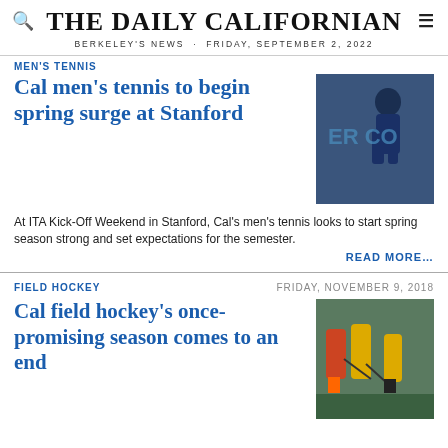THE DAILY CALIFORNIAN
BERKELEY'S NEWS · FRIDAY, SEPTEMBER 2, 2022
MEN'S TENNIS
Cal men's tennis to begin spring surge at Stanford
[Figure (photo): Tennis player in blue uniform mid-action]
At ITA Kick-Off Weekend in Stanford, Cal's men's tennis looks to start spring season strong and set expectations for the semester.
READ MORE…
FIELD HOCKEY
FRIDAY, NOVEMBER 9, 2018
[Figure (photo): Field hockey players competing on field]
Cal field hockey's once-promising season comes to an end